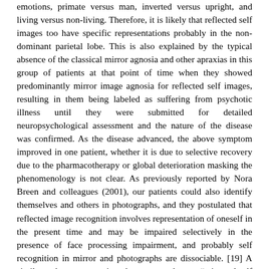emotions, primate versus man, inverted versus upright, and living versus non-living. Therefore, it is likely that reflected self images too have specific representations probably in the non-dominant parietal lobe. This is also explained by the typical absence of the classical mirror agnosia and other apraxias in this group of patients at that point of time when they showed predominantly mirror image agnosia for reflected self images, resulting in them being labeled as suffering from psychotic illness until they were submitted for detailed neuropsychological assessment and the nature of the disease was confirmed. As the disease advanced, the above symptom improved in one patient, whether it is due to selective recovery due to the pharmacotherapy or global deterioration masking the phenomenology is not clear. As previously reported by Nora Breen and colleagues (2001), our patients could also identify themselves and others in photographs, and they postulated that reflected image recognition involves representation of oneself in the present time and may be impaired selectively in the presence of face processing impairment, and probably self recognition in mirror and photographs are dissociable. [19] A similar phenomenon is also reported as "mirrored-self misidentification delusion" (historically, it has also been referred to as the "mirror sign" as well). Mirrored-self misidentification is the belief that one's reflection in the mirror is not oneself. It has previously been reported many times and in many different clinical conditions, especially following cerebrovascular events and neurodegenerative diseases. [12] Our patients are unique in the sense that they lacked persistent delusional thoughts about the reflected images of self, had no problem in test of face recognition, and suffered from degenerative dementia and not vascular. They behaved as if the reflected image was real, and one patient had a compulsive pleasurable attraction to talk to the reflected image. We feel this